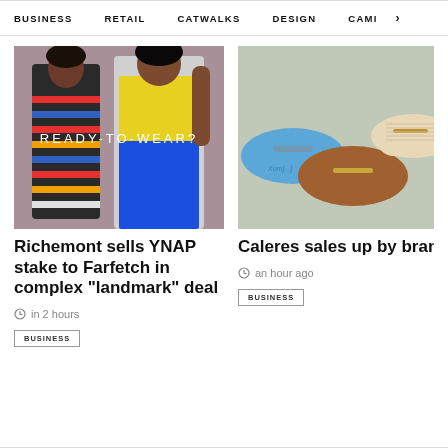BUSINESS   RETAIL   CATWALKS   DESIGN   CAMI  >
[Figure (photo): Two fashion models posing with text overlay READY-TO-WEAR?]
Richemont sells YNAP stake to Farfetch in complex "landmark" deal
in 2 hours
BUSINESS
[Figure (photo): Three loafer/mule shoes in blue, brown, and beige colors on grey background]
Caleres sales up by brand portfo
an hour ago
BUSINESS